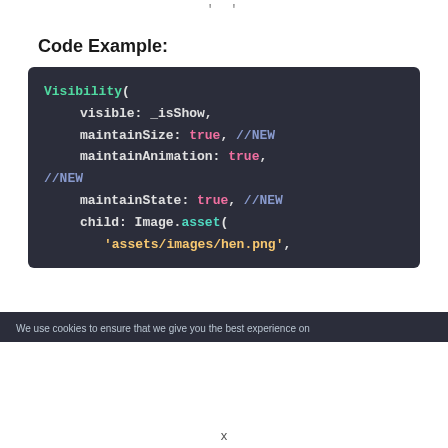' '
Code Example:
[Figure (screenshot): Dark-themed code block showing Flutter Visibility widget usage with properties: visible: _isShow, maintainSize: true, //NEW, maintainAnimation: true, //NEW, maintainState: true, //NEW, child: Image.asset('assets/images/hen.png',]
We use cookies to ensure that we give you the best experience on